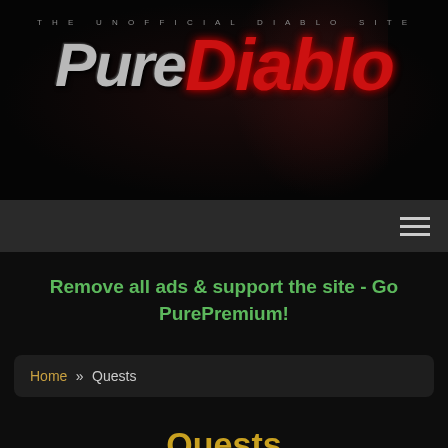[Figure (logo): PureDiablo website logo — 'THE UNOFFICIAL DIABLO SITE' subtitle above large stylized text 'PURE' in silver/grey and 'DIABLO' in red, with a Diablo character image in the background]
Navigation bar with hamburger menu icon
Remove all ads & support the site - Go PurePremium!
Home » Quests
Quests
Quests in Diablo 2 are what drives the